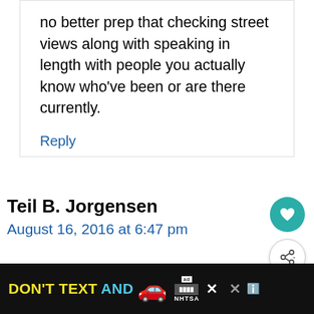no better prep that checking street views along with speaking in length with people you actually know who've been or are there currently.
Reply
Teil B. Jorgensen
August 16, 2016 at 6:47 pm
[Figure (screenshot): Advertisement banner: DON'T TEXT AND [car emoji] ad logo NHTSA with close buttons]
DON'T TEXT AND NHTSA